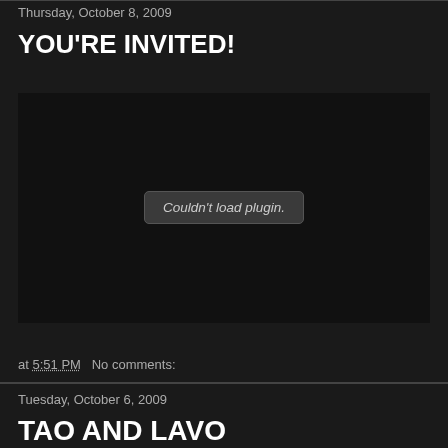Thursday, October 8, 2009
YOU'RE INVITED!
[Figure (other): Embedded plugin area showing 'Couldn't load plugin.' placeholder message on dark background]
at 5:51 PM   No comments:
Tuesday, October 6, 2009
TAO AND LAVO ANNIVERSARY WEEKEND!